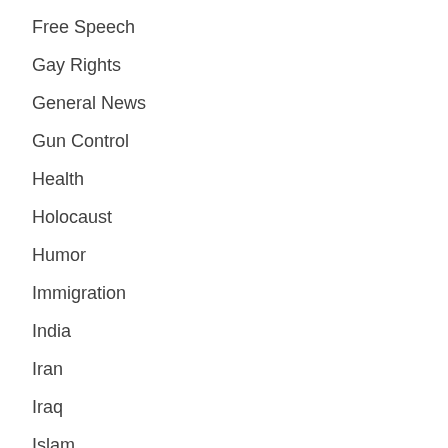Free Speech
Gay Rights
General News
Gun Control
Health
Holocaust
Humor
Immigration
India
Iran
Iraq
Islam